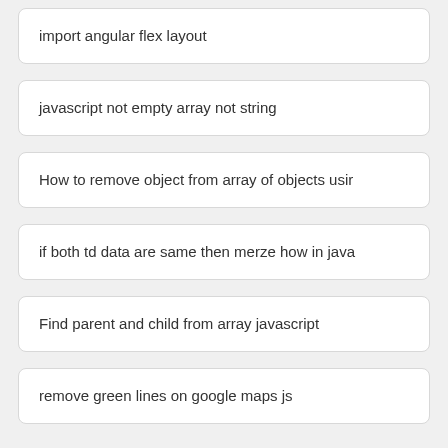import angular flex layout
javascript not empty array not string
How to remove object from array of objects usir
if both td data are same then merze how in java
Find parent and child from array javascript
remove green lines on google maps js